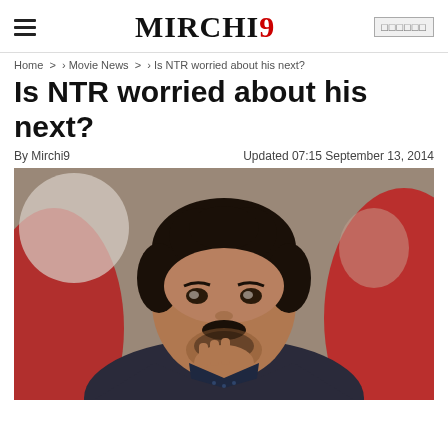MIRCHI9
Home › Movie News › Is NTR worried about his next?
Is NTR worried about his next?
By Mirchi9   Updated 07:15 September 13, 2014
[Figure (photo): A young Indian man with curly hair and a beard, resting his chin on his hand in a thoughtful pose, wearing a dark jacket. Red seats visible in background.]